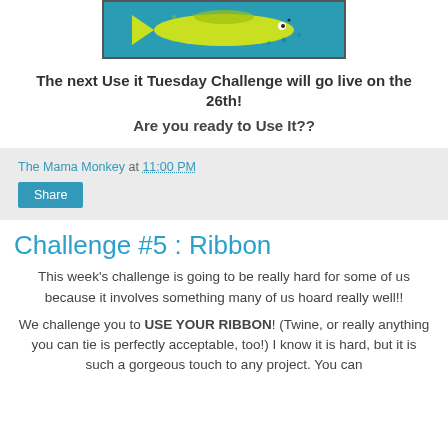[Figure (illustration): A stylized fish illustration on a teal/blue background, shown inside a bordered frame, partially cropped at the top of the page.]
The next Use it Tuesday Challenge will go live on the 26th!
Are you ready to Use It??
The Mama Monkey at 11:00 PM
Share
Challenge #5 : Ribbon
This week's challenge is going to be really hard for some of us because it involves something many of us hoard really well!!
We challenge you to USE YOUR RIBBON! (Twine, or really anything you can tie is perfectly acceptable, too!) I know it is hard, but it is such a gorgeous touch to any project. You can